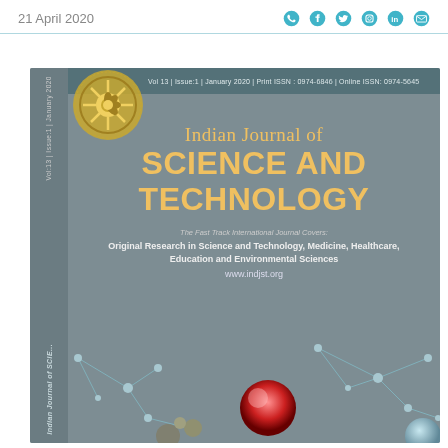21 April 2020
[Figure (illustration): Cover of Indian Journal of Science and Technology, Vol 13, Issue 1, January 2020, Print ISSN: 0974-6846, Online ISSN: 0974-5645. Gray background with yellow journal title text, circular logo, molecule decoration graphics at bottom, and vertical spine text.]